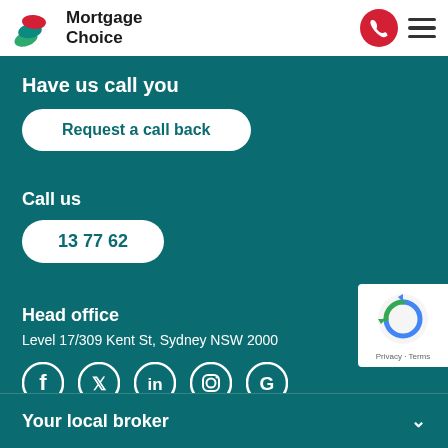[Figure (logo): Mortgage Choice logo with stylized book/leaf icon in red, teal, and green, with text 'Mortgage Choice']
[Figure (other): Red circular phone call button and hamburger menu icon]
Have us call you
Request a call back
Call us
13 77 62
Head office
Level 17/309 Kent St, Sydney NSW 2000
[Figure (other): Social media icons: Facebook, Twitter, LinkedIn, Instagram, Google]
[Figure (other): reCAPTCHA badge with Privacy and Terms text]
Your local broker